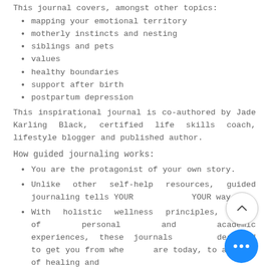This journal covers, amongst other topics:
mapping your emotional territory
motherly instincts and nesting
siblings and pets
values
healthy boundaries
support after birth
postpartum depression
This inspirational journal is co-authored by Jade Karling Black, certified life skills coach, lifestyle blogger and published author.
How guided journaling works:
You are the protagonist of your own story.
Unlike other self-help resources, guided journaling tells YOUR YOUR way.
With holistic wellness principles, years of personal and academic experiences, these journals designed to get you from where are today, to a place of healing and